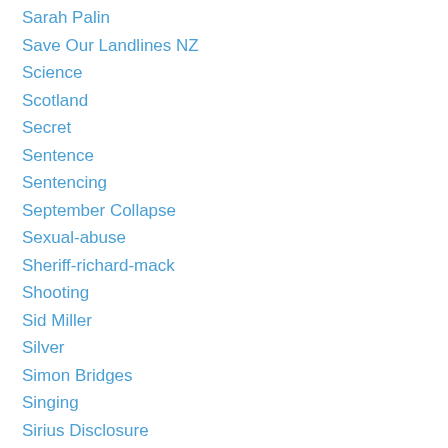Sarah Palin
Save Our Landlines NZ
Science
Scotland
Secret
Sentence
Sentencing
September Collapse
Sexual-abuse
Sheriff-richard-mack
Shooting
Sid Miller
Silver
Simon Bridges
Singing
Sirius Disclosure
Sir Robert Jones
SJW
Skegg
Skull And Bones
Smart Grid